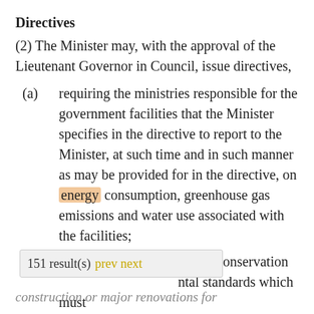Directives
(2) The Minister may, with the approval of the Lieutenant Governor in Council, issue directives,
(a) requiring the ministries responsible for the government facilities that the Minister specifies in the directive to report to the Minister, at such time and in such manner as may be provided for in the directive, on energy consumption, greenhouse gas emissions and water use associated with the facilities;
(b) establishing energy , water conservation [environmental] standards which must [meet mini]mum standards for new [construction or major renovations for]